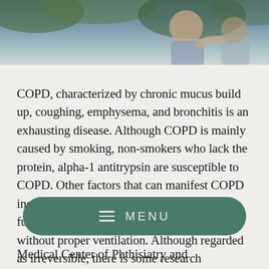[Figure (photo): Photograph of elderly person outdoors, partially visible at top of page]
COPD, characterized by chronic mucus build up, coughing, emphysema, and bronchitis is an exhausting disease. Although COPD is mainly caused by smoking, non-smokers who lack the protein, alpha-1 antitrypsin are susceptible to COPD. Other factors that can manifest COPD include exposure to certain heavy gases and fumes at work or home, or through cooking without proper ventilation. Although regarded as irreversible, there is some research supporting relief from therapies like halotherapy. One study published in Medical
[Figure (other): Green rounded rectangle menu button with hamburger icon and MENU text]
Medical Center of Phthisiatry and